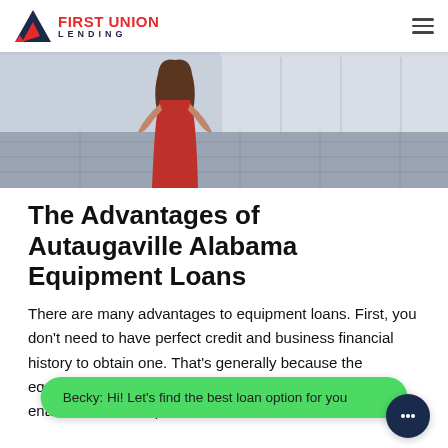FIRST UNION LENDING
[Figure (photo): Hero image showing a woman in a red dress in a modern building lobby with tile floor]
The Advantages of Autaugaville Alabama Equipment Loans
There are many advantages to equipment loans. First, you don't need to have perfect credit and business financial history to obtain one. That's generally because the equipment itself serves as collateral for your loan, which enables lenders to provide...